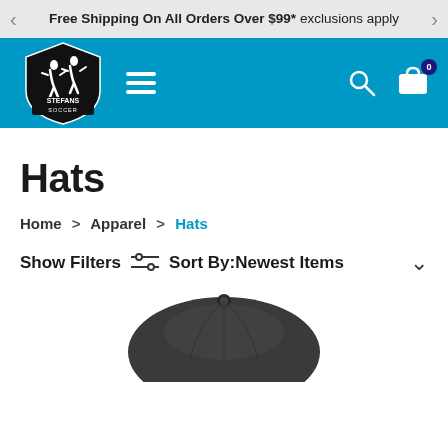Free Shipping On All Orders Over $99* exclusions apply
[Figure (logo): Stefans Soccer logo — black shield with white soccer player silhouettes, text STEFANS SOCCER]
Hats
Home > Apparel > Hats
Show Filters   Sort By: Newest Items
[Figure (photo): Partial view of a dark grey/charcoal soccer hat from above, showing the crown and button on top]